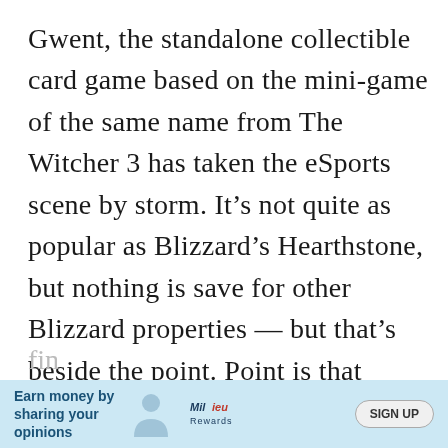Gwent, the standalone collectible card game based on the mini-game of the same name from The Witcher 3 has taken the eSports scene by storm. It’s not quite as popular as Blizzard’s Hearthstone, but nothing is save for other Blizzard properties — but that’s beside the point. Point is that many gamers were introduced to Gwent in The Witcher 3 and have since become addicted to this unique little card game. However, believe it or not, Gwent almost didn’t make it into the
[Figure (other): Advertisement banner: light blue background with text 'Earn money by sharing your opinions', a silhouette figure graphic, Milieu Rewards logo, and a SIGN UP button]